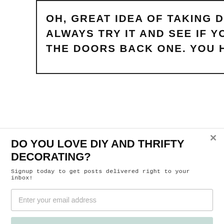OH, GREAT IDEA OF TAKING DOWN THE DOORS. YOU COULD ALWAYS TRY IT AND SEE IF YOU LIKE THE LOOK. IF NOT, JUST PUT THE DOORS BACK ONE. YOU HAVE NOTHING TO LOSE!
ANGELA, BLUE I
DO YOU LOVE DIY AND THRIFTY DECORATING?
Signup today to get posts delivered right to your inbox!
Enter your email address
Subscribe Now